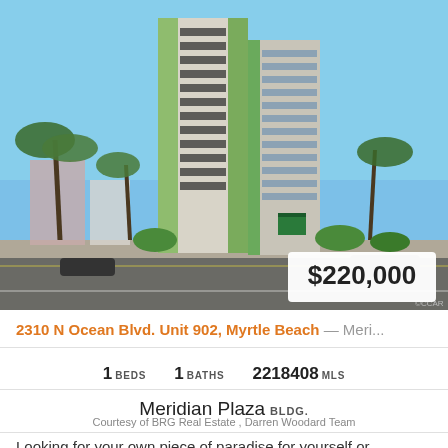[Figure (photo): Exterior photo of Meridian Plaza condominium tower at Myrtle Beach, a tall multi-story building with green and beige facade, palm trees, and blue sky. Price badge showing $220,000 overlaid on the lower right of the photo.]
2310 N Ocean Blvd. Unit 902, Myrtle Beach — Meri...
1 BEDS  1 BATHS  2218408 MLS
Meridian Plaza BLDG.
Courtesy of BRG Real Estate , Darren Woodard Team
Looking for your own piece of paradise for yourself or